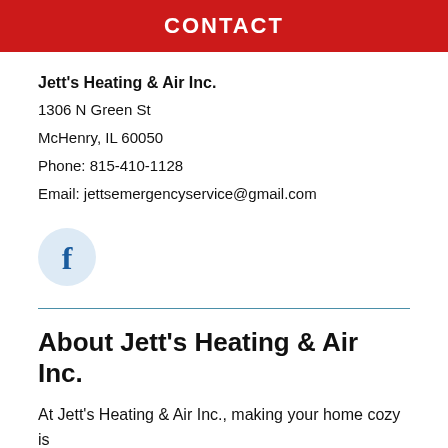CONTACT
Jett's Heating & Air Inc.
1306 N Green St
McHenry, IL 60050
Phone: 815-410-1128
Email: jettsemergencyservice@gmail.com
[Figure (logo): Facebook icon: light blue circle with a lowercase bold white 'f' in the center]
About Jett's Heating & Air Inc.
At Jett's Heating & Air Inc., making your home cozy is